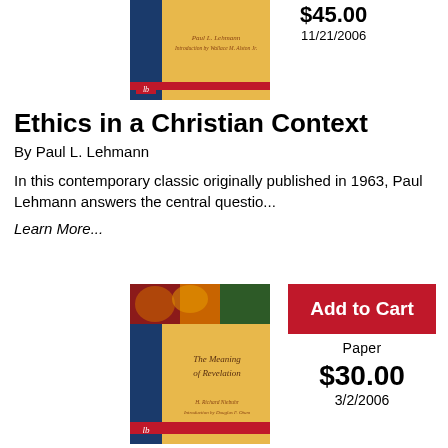[Figure (photo): Book cover of Ethics in a Christian Context by Paul L. Lehmann, blue and yellow cover with logo]
$45.00
11/21/2006
Ethics in a Christian Context
By Paul L. Lehmann
In this contemporary classic originally published in 1963, Paul Lehmann answers the central questio...
Learn More...
[Figure (photo): Book cover of The Meaning of Revelation by H. Richard Niebuhr, yellow and blue cover with illustration]
Add to Cart
Paper
$30.00
3/2/2006